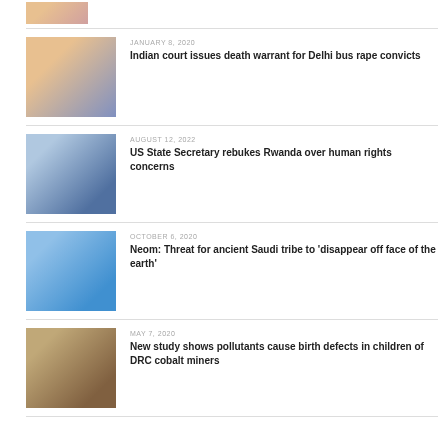[Figure (photo): Partial top news item thumbnail — partially cropped]
[Figure (photo): Woman smiling in blue outfit — January 8 2020 article]
JANUARY 8, 2020
Indian court issues death warrant for Delhi bus rape convicts
[Figure (photo): Man in suit at podium — August 12 2022 article]
AUGUST 12, 2022
US State Secretary rebukes Rwanda over human rights concerns
[Figure (photo): Futuristic city rendering — October 6 2020 article]
OCTOBER 6, 2020
Neom: Threat for ancient Saudi tribe to 'disappear off face of the earth'
[Figure (photo): Child mining in dirt — May 7 2020 article]
MAY 7, 2020
New study shows pollutants cause birth defects in children of DRC cobalt miners